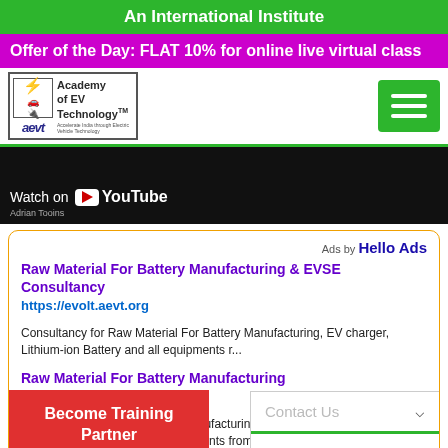An International Institute
Offer of the Day: FLAT 10% for online live virtual class
[Figure (logo): Academy of EV Technology (AEVT) logo with electric vehicle icon]
[Figure (screenshot): YouTube watch banner with dark background]
Ads by Hello Ads
Raw Material For Battery Manufacturing & EVSE Consultancy
https://evolt.aevt.org
Consultancy for Raw Material For Battery Manufacturing, EV charger, Lithium-ion Battery and all equipments r...
Raw Material For Battery Manufacturing
https://evsemart.com/
Buy Raw Material For Battery Manufacturing - Bu... Lithium-ion Battery and all equipments from EVS...
Contact Us
+918296353254
+918479838828
11 AM to 6 PM
Become Training Partner